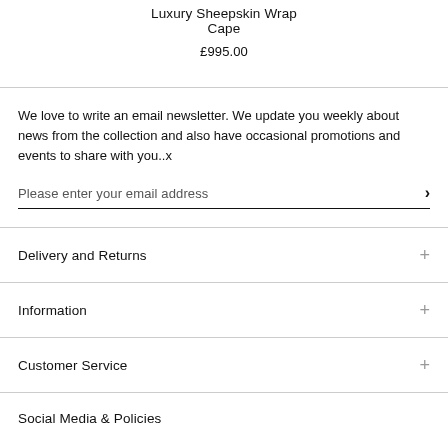Luxury Sheepskin Wrap Cape
£995.00
We love to write an email newsletter. We update you weekly about news from the collection and also have occasional promotions and events to share with you..x
Please enter your email address
Delivery and Returns
Information
Customer Service
Social Media &amp; Policies